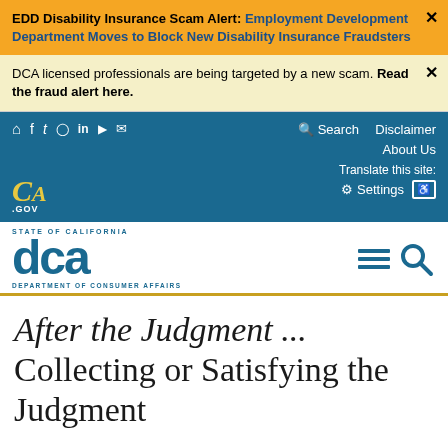EDD Disability Insurance Scam Alert: Employment Development Department Moves to Block New Disability Insurance Fraudsters
DCA licensed professionals are being targeted by a new scam. Read the fraud alert here.
CA.GOV navigation bar with social icons, Search, Disclaimer, About Us, Translate this site, Settings, Accessibility
[Figure (logo): DCA - State of California Department of Consumer Affairs logo with hamburger menu and search icons]
After the Judgment ... Collecting or Satisfying the Judgment